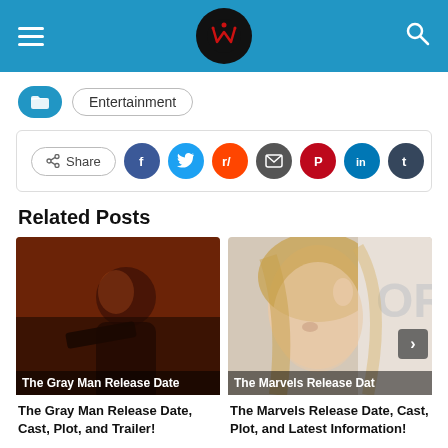Site header with hamburger menu, logo, and search icon
Entertainment
Share
Related Posts
[Figure (photo): Movie still from The Gray Man showing a male actor holding a weapon in dim reddish lighting]
The Gray Man Release Date
The Gray Man Release Date, Cast, Plot, and Trailer!
[Figure (photo): Photo of a blonde actress smiling at an event with partial text 'OR' visible in the background]
The Marvels Release Date
The Marvels Release Date, Cast, Plot, and Latest Information!